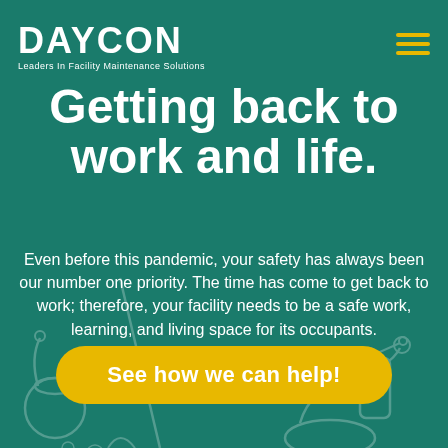[Figure (logo): DAYCON logo with text 'Leaders In Facility Maintenance Solutions' on teal background]
Getting back to work and life.
Even before this pandemic, your safety has always been our number one priority. The time has come to get back to work; therefore, your facility needs to be a safe work, learning, and living space for its occupants.
See how we can help!